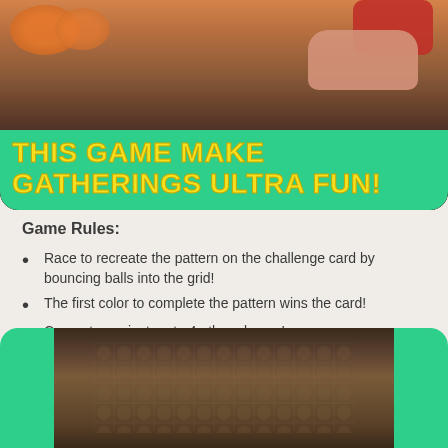[Figure (photo): Photo of people playing a ball-bouncing game with orange pillows in background and hands visible. Green banner overlay with yellow bold text reading 'THIS GAME MAKE GATHERINGS ULTRA FUN!']
Game Rules:
Race to recreate the pattern on the challenge card by bouncing balls into the grid!
The first color to complete the pattern wins the card!
Compete against up to 4 other players!
Two ways to play mean everyone can bounce together or play by relay!
[Figure (photo): Close-up photo of the game grid/board showing a pattern of balls in slots, with green rounded frame.]